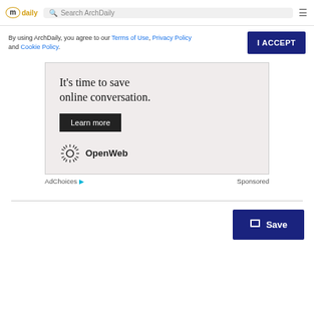ArchDaily — Search ArchDaily
By using ArchDaily, you agree to our Terms of Use, Privacy Policy and Cookie Policy.
[Figure (screenshot): OpenWeb advertisement: 'It's time to save online conversation.' with a Learn more button and OpenWeb logo]
AdChoices  Sponsored